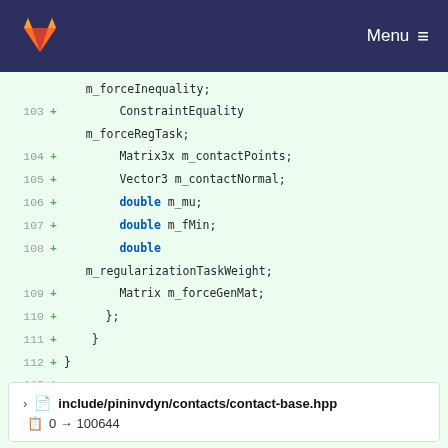Menu
[Figure (screenshot): Code diff view showing lines 103-114 of a C++ header file with added lines (marked with +). Contains struct member declarations including ConstraintEquality m_forceRegTask, Matrix3x m_contactPoints, Vector3 m_contactNormal, double m_mu, double m_fMin, double m_regularizationTaskWeight, Matrix m_forceGenMat, closing braces, and #endif // ifndef __invdyn_contact_6d_hpp__]
include/pininvdyn/contacts/contact-base.hpp
0 → 100644